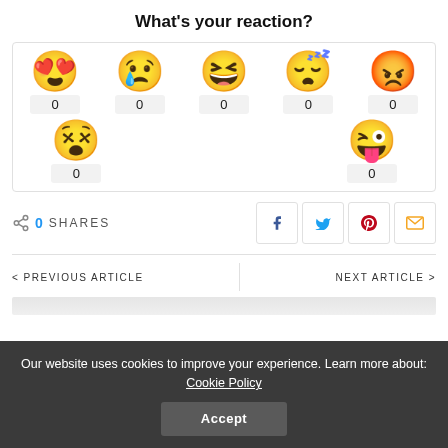What's your reaction?
[Figure (infographic): Seven emoji reaction buttons (love, sad, laugh, sleepy, angry, confused, silly) each showing a count of 0]
0 SHARES
[Figure (infographic): Social share buttons for Facebook, Twitter, Pinterest, and Email]
< PREVIOUS ARTICLE
NEXT ARTICLE >
Our website uses cookies to improve your experience. Learn more about: Cookie Policy
Accept